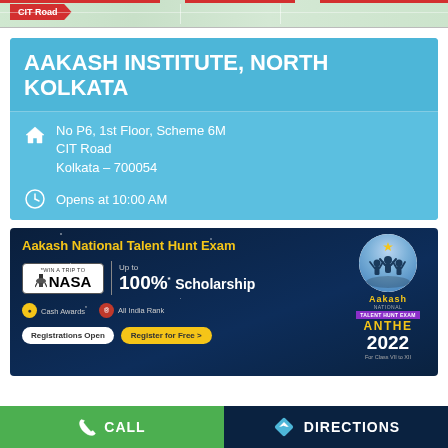[Figure (screenshot): Map strip with CIT Road red badge label]
AAKASH INSTITUTE, NORTH KOLKATA
No P6, 1st Floor, Scheme 6M
CIT Road
Kolkata – 700054
Opens at 10:00 AM
[Figure (infographic): Aakash National Talent Hunt Exam banner — ANTHE 2022, *WIN A TRIP TO NASA, Up to 100%* Scholarship, Cash Awards, All India Rank, Registrations Open, Register for Free, For Class VII to XII]
CALL
DIRECTIONS